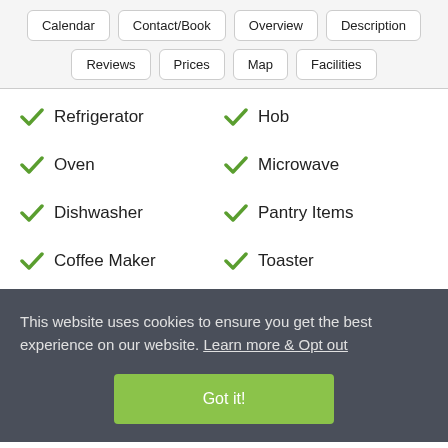Calendar
Contact/Book
Overview
Description
Reviews
Prices
Map
Facilities
Refrigerator
Hob
Oven
Microwave
Dishwasher
Pantry Items
Coffee Maker
Toaster
This website uses cookies to ensure you get the best experience on our website. Learn more & Opt out
Got it!